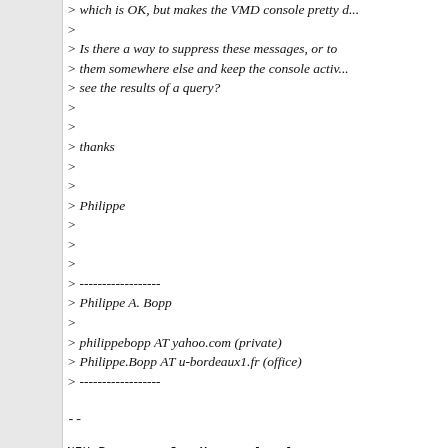> which is OK, but makes the VMD console pretty d...
>
> Is there a way to suppress these messages, or to...
> them somewhere else and keep the console activ...
> see the results of a query?
>
>
> thanks
>
>
> Philippe
>
>
>
> ------------------
> Philippe A. Bopp
>
> philippebopp AT yahoo.com (private)
> Philippe.Bopp AT u-bordeaux1.fr (office)
> ------------------
--
NIH Resource for Macromolecular...
Beckman Institute for Advanced...
University of Illinois, 405 N.
http://www.ks.uiuc.edu/~johns/
http://www.ks.uiuc.edu/Research